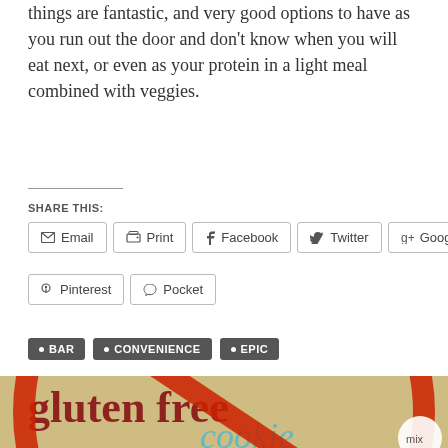things are fantastic, and very good options to have as you run out the door and don't know when you will eat next, or even as your protein in a light meal combined with veggies.
SHARE THIS:
Email
Print
Facebook
Twitter
Google
Pinterest
Pocket
BAR
CONVENIENCE
EPIC
[Figure (photo): Gluten Free cookie mix packaging image with a red circle-slash symbol overlaid on it]